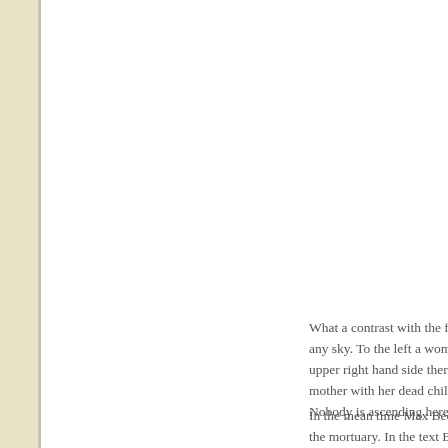What a contrast with the first any sky. To the left a woman upper right hand side there a mother with her dead child. Nobody is ascending here, a
In the mean time Max Beckn the mortuary. In the text Bec